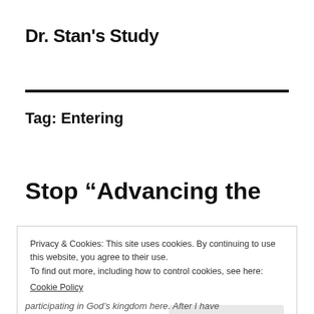Dr. Stan's Study
Tag: Entering
Stop “Advancing the
Privacy & Cookies: This site uses cookies. By continuing to use this website, you agree to their use.
To find out more, including how to control cookies, see here:
Cookie Policy
Close and accept